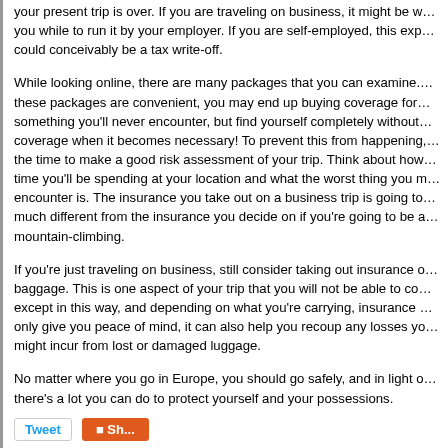your present trip is over. If you are traveling on business, it might be worth your while to run it by your employer. If you are self-employed, this expense could conceivably be a tax write-off.
While looking online, there are many packages that you can examine. While these packages are convenient, you may end up buying coverage for something you'll never encounter, but find yourself completely without coverage when it becomes necessary! To prevent this from happening, take the time to make a good risk assessment of your trip. Think about how much time you'll be spending at your location and what the worst thing you might encounter is. The insurance you take out on a business trip is going to be much different from the insurance you decide on if you're going to be mountain-climbing.
If you're just traveling on business, still consider taking out insurance on your baggage. This is one aspect of your trip that you will not be able to control except in this way, and depending on what you're carrying, insurance will not only give you peace of mind, it can also help you recoup any losses you might incur from lost or damaged luggage.
No matter where you go in Europe, you should go safely, and in light of this, there's a lot you can do to protect yourself and your possessions.
Tweet  Share